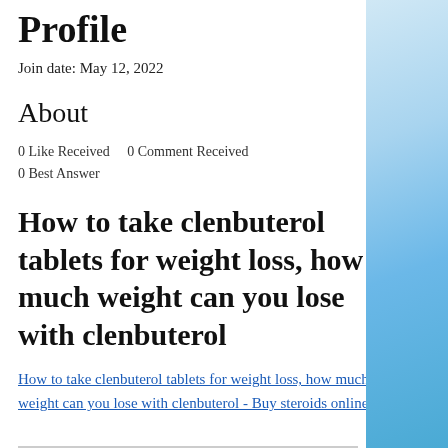Profile
Join date: May 12, 2022
About
0 Like Received    0 Comment Received
0 Best Answer
How to take clenbuterol tablets for weight loss, how much weight can you lose with clenbuterol
How to take clenbuterol tablets for weight loss, how much weight can you lose with clenbuterol - Buy steroids online